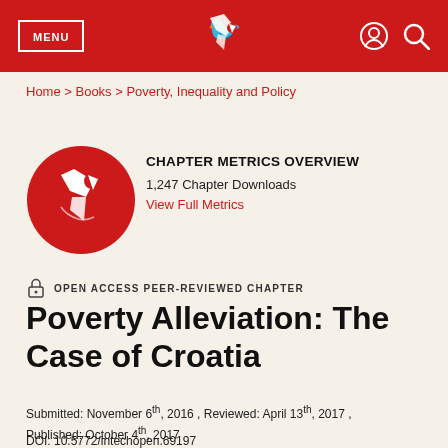MENU | IntechOpen logo | user icon | search icon
Home > Books > Poverty, Inequality and Policy
[Figure (logo): IntechOpen circular red logo with bird/flag icon, next to Chapter Metrics Overview section showing 1,247 Chapter Downloads and View Full Metrics link]
CHAPTER METRICS OVERVIEW
1,247 Chapter Downloads
View Full Metrics
OPEN ACCESS PEER-REVIEWED CHAPTER
Poverty Alleviation: The Case of Croatia
Submitted: November 6th, 2016 , Reviewed: April 13th, 2017 , Published: October 4th, 2017
DOI: 10.5772/intechopen.69197